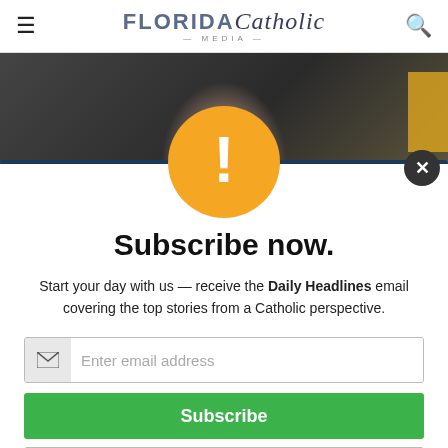FLORIDA Catholic MEDIA
[Figure (photo): Background photo of a man in dark clothing with a chain necklace, photographed against a dark background with yellow accent.]
Subscribe now.
Start your day with us — receive the Daily Headlines email covering the top stories from a Catholic perspective.